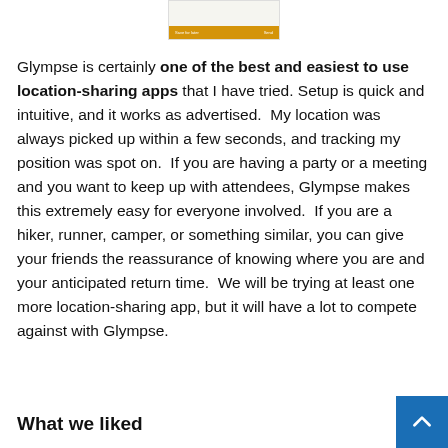[Figure (screenshot): Screenshot of a mobile app interface showing a save for later / send button bar with a golden/amber colored button strip at the bottom]
Glympse is certainly one of the best and easiest to use location-sharing apps that I have tried. Setup is quick and intuitive, and it works as advertised.  My location was always picked up within a few seconds, and tracking my position was spot on.  If you are having a party or a meeting and you want to keep up with attendees, Glympse makes this extremely easy for everyone involved.  If you are a hiker, runner, camper, or something similar, you can give your friends the reassurance of knowing where you are and your anticipated return time.  We will be trying at least one more location-sharing app, but it will have a lot to compete against with Glympse.
What we liked